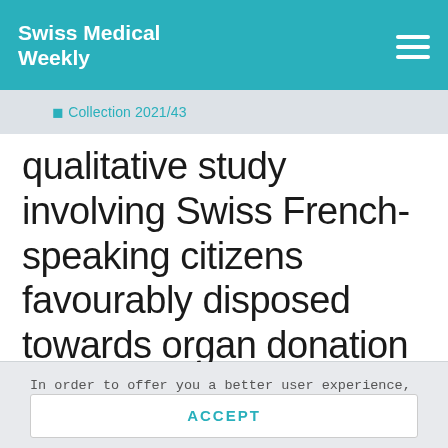Swiss Medical Weekly
◼ Collection 2021/43
qualitative study involving Swiss French-speaking citizens favourably disposed towards organ donation
In order to offer you a better user experience, we use cookies. Additional information can be found here..
ACCEPT